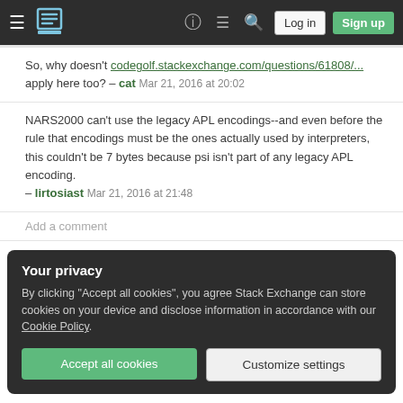Stack Exchange navigation bar with hamburger menu, logo, help, inbox, search icons, Log in and Sign up buttons
So, why doesn't codegolf.stackexchange.com/questions/61808/... apply here too? – cat Mar 21, 2016 at 20:02
NARS2000 can't use the legacy APL encodings--and even before the rule that encodings must be the ones actually used by interpreters, this couldn't be 7 bytes because psi isn't part of any legacy APL encoding. – lirtosiast Mar 21, 2016 at 21:48
Add a comment
Your privacy
By clicking "Accept all cookies", you agree Stack Exchange can store cookies on your device and disclose information in accordance with our Cookie Policy.
Accept all cookies
Customize settings